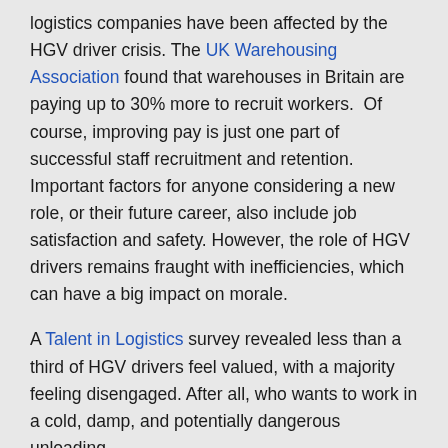logistics companies have been affected by the HGV driver crisis. The UK Warehousing Association found that warehouses in Britain are paying up to 30% more to recruit workers.  Of course, improving pay is just one part of successful staff recruitment and retention. Important factors for anyone considering a new role, or their future career, also include job satisfaction and safety. However, the role of HGV drivers remains fraught with inefficiencies, which can have a big impact on morale.
A Talent in Logistics survey revealed less than a third of HGV drivers feel valued, with a majority feeling disengaged. After all, who wants to work in a cold, damp, and potentially dangerous unloading